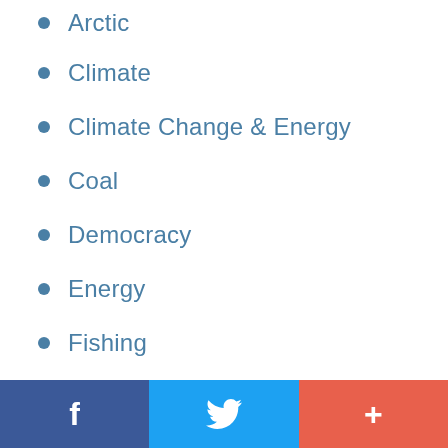Arctic
Climate
Climate Change & Energy
Coal
Democracy
Energy
Fishing
Food
Forests
Fundraising
General
Great Australian Bight
Great Barrier Reef
Green Internet
f  [twitter]  +